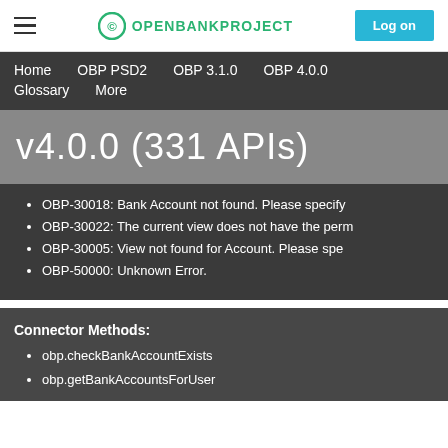OPENBANKPROJECT  Log on
Home  OBP PSD2  OBP 3.1.0  OBP 4.0.0  Glossary  More
v4.0.0 (331 APIs)
OBP-30018: Bank Account not found. Please specify
OBP-30022: The current view does not have the perm
OBP-30005: View not found for Account. Please spe
OBP-50000: Unknown Error.
Connector Methods:
obp.checkBankAccountExists
obp.getBankAccountsForUser